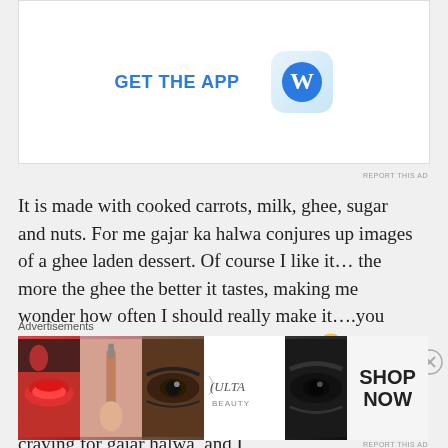[Figure (screenshot): WordPress 'GET THE APP' advertisement banner with blue WordPress logo icon on light blue background]
REPORT THIS AD
It is made with cooked carrots, milk, ghee, sugar and nuts. For me gajar ka halwa conjures up images of a ghee laden dessert. Of course I like it… the more the ghee the better it tastes, making me wonder how often I should really make it….you know my problem with portion control 🙁
So I thought of a carrot/gajar halwa flavored almond milk smoothie! It definitely satisfied my craving for gajar halwa, and I
Advertisements
[Figure (photo): Ulta Beauty advertisement banner showing beauty/makeup images — lips, makeup brush, eye, Ulta logo, eyebrows — with SHOP NOW text]